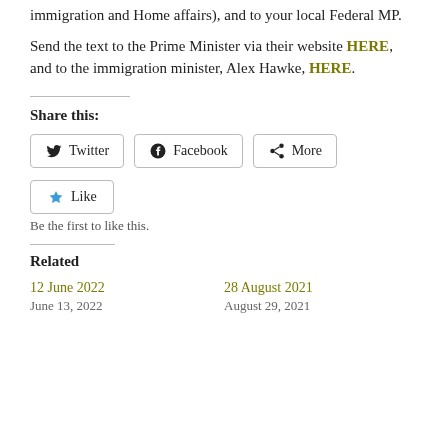immigration and Home affairs), and to your local Federal MP.
Send the text to the Prime Minister via their website HERE, and to the immigration minister, Alex Hawke, HERE.
Share this:
Twitter  Facebook  More
Like  Be the first to like this.
Related
12 June 2022
June 13, 2022
28 August 2021
August 29, 2021